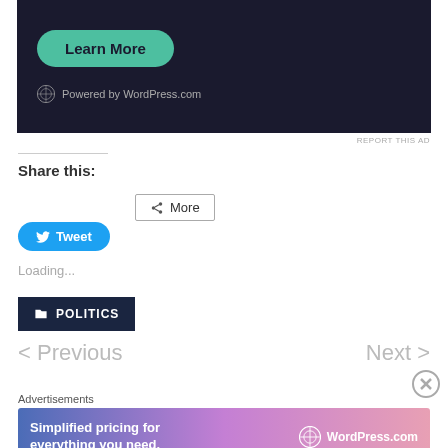[Figure (screenshot): Dark background ad with 'Learn More' teal button and 'Powered by WordPress.com' text]
REPORT THIS AD
Share this:
More
Tweet
Loading...
POLITICS
< Previous
Next >
Advertisements
[Figure (screenshot): WordPress.com banner ad: 'Simplified pricing for everything you need.' with WordPress.com logo on gradient background]